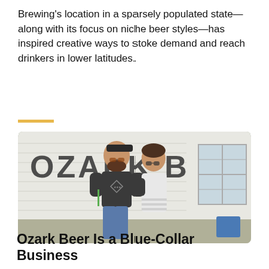Brewing's location in a sparsely populated state—along with its focus on niche beer styles—has inspired creative ways to stoke demand and reach drinkers in lower latitudes.
[Figure (photo): Two people (a bearded man wearing a cap, sunglasses, and an Ozark Beer Co. t-shirt, and a woman in a white tank top with sunglasses) posing in front of a white clapboard building with 'OZARK BE' lettering visible.]
Ozark Beer Is a Blue-Collar Business